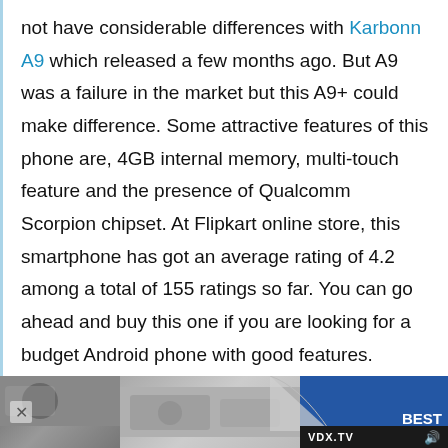not have considerable differences with Karbonn A9 which released a few months ago. But A9 was a failure in the market but this A9+ could make difference. Some attractive features of this phone are, 4GB internal memory, multi-touch feature and the presence of Qualcomm Scorpion chipset. At Flipkart online store, this smartphone has got an average rating of 4.2 among a total of 155 ratings so far. You can go ahead and buy this one if you are looking for a budget Android phone with good features.
|  |  |
| --- | --- |
| Processor | 1.2 GHz Dual Core Scorpion Processor with Qualcomm Scorpion chipset |
[Figure (other): Advertisement bar at the bottom showing Best Buy ad with VDX.TV branding]